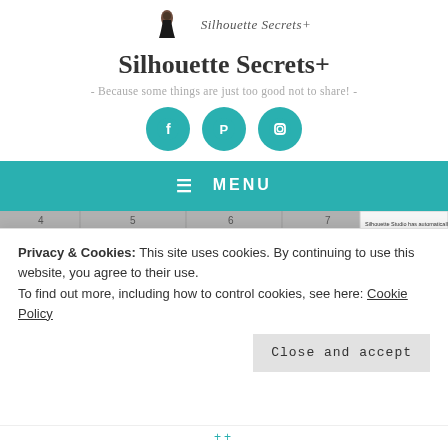[Figure (logo): Silhouette Secrets+ logo with illustrated figure wearing black dress]
Silhouette Secrets+
- Because some things are just too good not to share! -
[Figure (infographic): Three teal circular social media icons: Facebook, Pinterest, Instagram]
≡ MENU
[Figure (screenshot): Screenshot showing Silhouette Studio with a 'Recovered' label in red text with red arrow, and a recovery notification panel on the right]
Privacy & Cookies: This site uses cookies. By continuing to use this website, you agree to their use.
To find out more, including how to control cookies, see here: Cookie Policy
Close and accept